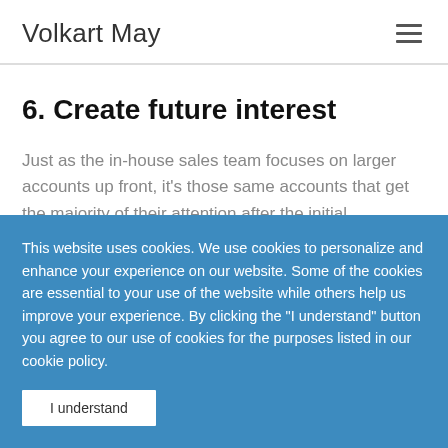Volkart May
6. Create future interest
Just as the in-house sales team focuses on larger accounts up front, it's those same accounts that get the majority of their attention after the initial
This website uses cookies. We use cookies to personalize and enhance your experience on our website. Some of the cookies are essential to your use of the website while others help us improve your experience. By clicking the "I understand" button you agree to our use of cookies for the purposes listed in our cookie policy.
I understand